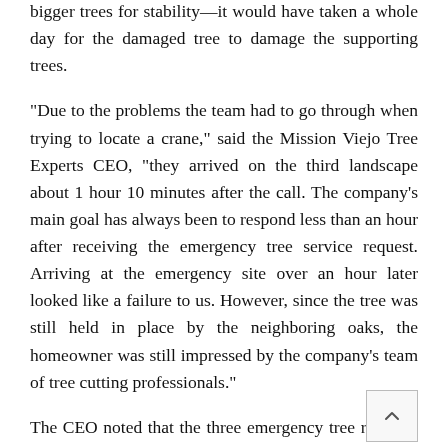bigger trees for stability—it would have taken a whole day for the damaged tree to damage the supporting trees.
“Due to the problems the team had to go through when trying to locate a crane,” said the Mission Viejo Tree Experts CEO, “they arrived on the third landscape about 1 hour 10 minutes after the call. The company’s main goal has always been to respond less than an hour after receiving the emergency tree service request. Arriving at the emergency site over an hour later looked like a failure to us. However, since the tree was still held in place by the neighboring oaks, the homeowner was still impressed by the company’s team of tree cutting professionals.”
The CEO noted that the three emergency tree removal procedures went on without a hitch. The trees were attached to the cranes which helped change their falling direction. The trees were then cut down a foot by foot. The emergency tree removal procedures ended well, with no damaged neighboring utility.
“In the 25+ years Mission Viejo Tree Experts has been in